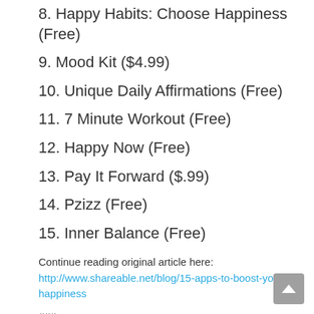8. Happy Habits: Choose Happiness (Free)
9. Mood Kit ($4.99)
10. Unique Daily Affirmations (Free)
11. 7 Minute Workout (Free)
12. Happy Now (Free)
13. Pay It Forward ($.99)
14. Pzizz (Free)
15. Inner Balance (Free)
Continue reading original article here:
http://www.shareable.net/blog/15-apps-to-boost-your-happiness
###
Cat Johnson is a freelance writer based in Santa Cruz, CA.